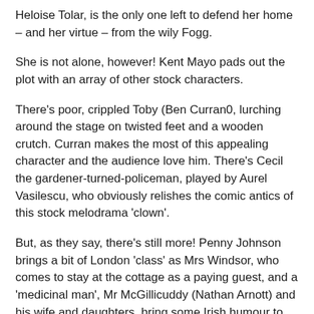Heloise Tolar, is the only one left to defend her home – and her virtue – from the wily Fogg.
She is not alone, however! Kent Mayo pads out the plot with an array of other stock characters.
There's poor, crippled Toby (Ben Curran0, lurching around the stage on twisted feet and a wooden crutch. Curran makes the most of this appealing character and the audience love him. There's Cecil the gardener-turned-policeman, played by Aurel Vasilescu, who obviously relishes the comic antics of this stock melodrama 'clown'.
But, as they say, there's still more! Penny Johnson brings a bit of London 'class' as Mrs Windsor, who comes to stay at the cottage as a paying guest, and a 'medicinal man', Mr McGillicuddy (Nathan Arnott) and his wife and daughters, bring some Irish humour to the plot.